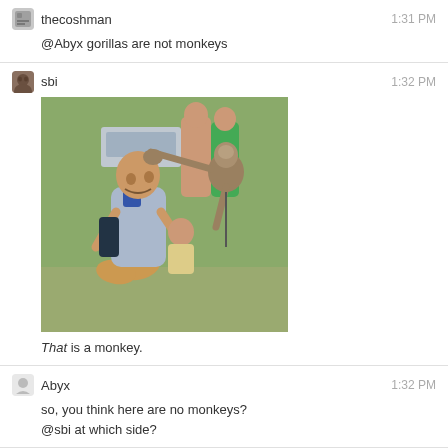thecoshman — 1:31 PM
@Abyx gorillas are not monkeys
[Figure (photo): A monkey scratching a man's face while the man crouches; a child is visible in the background.]
sbi — 1:32 PM
That is a monkey.
Abyx — 1:32 PM
so, you think here are no monkeys?
@sbi at which side?
sbi — 1:32 PM
This is an ape.
Collin — 1:32 PM